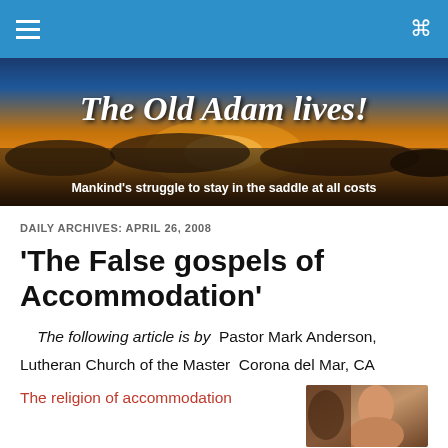Navigation bar with hamburger menu and search icon
[Figure (illustration): Blog banner image with sunset/sunrise sky background. Title: 'The Old Adam lives!' Subtitle: 'Mankind's struggle to stay in the saddle at all costs']
DAILY ARCHIVES: APRIL 26, 2008
'The False gospels of Accommodation'
The following article is by  Pastor Mark Anderson,
Lutheran Church of the Master  Corona del Mar, CA
The religion of accommodation
[Figure (photo): Portrait photo of a person, partially visible at bottom right of page]